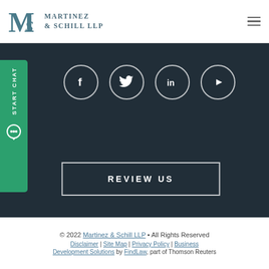[Figure (logo): Martinez & Schill LLP law firm logo with stylized MS monogram]
[Figure (infographic): Dark banner with social media icons (Facebook, Twitter, LinkedIn, YouTube) and a 'REVIEW US' button, plus a green START CHAT tab on the left side]
© 2022 Martinez & Schill LLP • All Rights Reserved
Disclaimer | Site Map | Privacy Policy | Business Development Solutions by FindLaw, part of Thomson Reuters